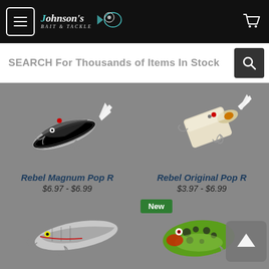Johnson's Bait & Tackle - navigation header with menu and cart
SEARCH For Thousands of Items In Stock
[Figure (photo): Rebel Magnum Pop R fishing lure - silver/black color with treble hooks and white tail feathers]
[Figure (photo): Rebel Original Pop R fishing lure - white/cream color with treble hooks and feathers]
Rebel Magnum Pop R
$6.97 - $6.99
Rebel Original Pop R
$3.97 - $6.99
New
[Figure (photo): Fishing lure - silver striped with treble hooks (partially visible, bottom left)]
[Figure (photo): Fishing lure - green frog pattern with red chin and treble hooks (partially visible, bottom right)]